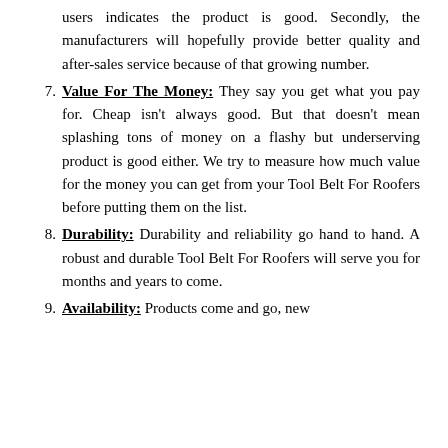users indicates the product is good. Secondly, the manufacturers will hopefully provide better quality and after-sales service because of that growing number.
7. Value For The Money: They say you get what you pay for. Cheap isn't always good. But that doesn't mean splashing tons of money on a flashy but underserving product is good either. We try to measure how much value for the money you can get from your Tool Belt For Roofers before putting them on the list.
8. Durability: Durability and reliability go hand to hand. A robust and durable Tool Belt For Roofers will serve you for months and years to come.
9. Availability: Products come and go, new